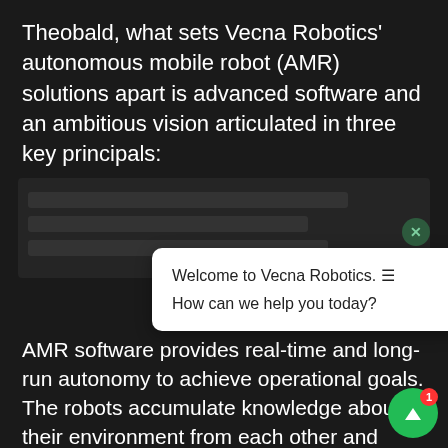Theobald, what sets Vecna Robotics' autonomous mobile robot (AMR) solutions apart is advanced software and an ambitious vision articulated in three key principals:
[Figure (screenshot): Redacted/blurred content block in the middle of the dark background page]
[Figure (screenshot): Chat widget popup with title 'Welcome to Vecna Robotics.' and subtitle 'How can we help you today?' with a close X button and a green chat button with notification badge showing 1]
AMR software provides real-time and long-run autonomy to achieve operational goals. The robots accumulate knowledge about their environment from each other and continuously improve fleet performance. They also know when to ask for help.